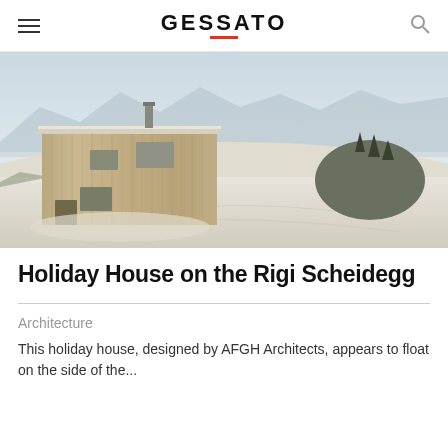GESSATO
[Figure (photo): Exterior view of a wooden holiday house (clad in vertical timber boards) set in a snowy Alpine landscape with mountains in the background. The building appears partially embedded in snow, with a chimney stack on the roof and small rectangular windows on the facade.]
Holiday House on the Rigi Scheidegg
Architecture
This holiday house, designed by AFGH Architects, appears to float on the side of the...